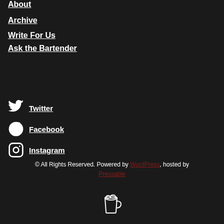About
Archive
Write For Us
Ask the Bartender
Twitter
Facebook
Instagram
© All Rights Reserved. Powered by WordPress, hosted by Pressable
[Figure (illustration): Beer mug icon at the bottom center of the page]